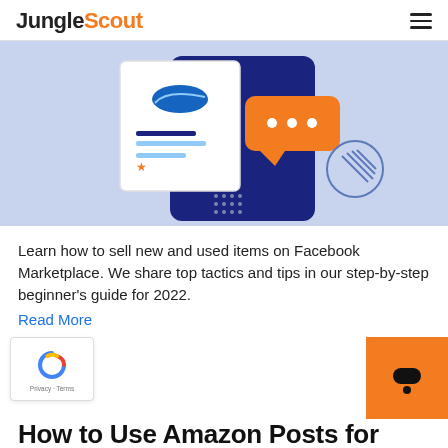JungleScout
[Figure (illustration): Illustration of a smartphone with a product listing card showing a sneaker, star rating and text lines, an orange speech bubble with three dots, and a circular graphic with diagonal lines, on a light blue background.]
Learn how to sell new and used items on Facebook Marketplace. We share top tactics and tips in our step-by-step beginner's guide for 2022.
Read More
[Figure (logo): Google reCAPTCHA badge with spinning arrow logo and Privacy - Terms links.]
[Figure (other): Orange chat button widget in bottom right corner with a chat bubble icon.]
How to Use Amazon Posts for Brand Discovery in 2022